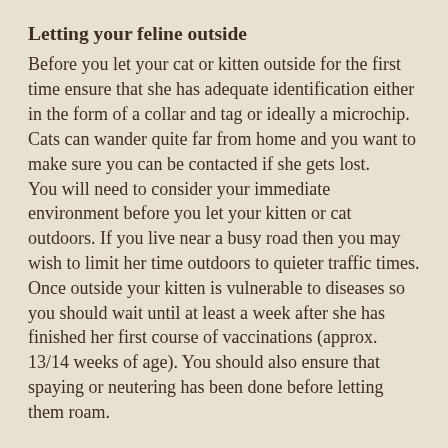Letting your feline outside
Before you let your cat or kitten outside for the first time ensure that she has adequate identification either in the form of a collar and tag or ideally a microchip. Cats can wander quite far from home and you want to make sure you can be contacted if she gets lost.
You will need to consider your immediate environment before you let your kitten or cat outdoors. If you live near a busy road then you may wish to limit her time outdoors to quieter traffic times.
Once outside your kitten is vulnerable to diseases so you should wait until at least a week after she has finished her first course of vaccinations (approx. 13/14 weeks of age). You should also ensure that spaying or neutering has been done before letting them roam.